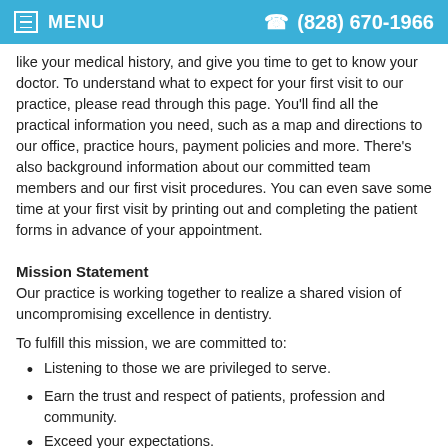MENU  (828) 670-1966
like your medical history, and give you time to get to know your doctor. To understand what to expect for your first visit to our practice, please read through this page. You'll find all the practical information you need, such as a map and directions to our office, practice hours, payment policies and more. There's also background information about our committed team members and our first visit procedures. You can even save some time at your first visit by printing out and completing the patient forms in advance of your appointment.
Mission Statement
Our practice is working together to realize a shared vision of uncompromising excellence in dentistry.
To fulfill this mission, we are committed to:
Listening to those we are privileged to serve.
Earn the trust and respect of patients, profession and community.
Exceed your expectations.
Ensure a creative, challenging and compassionate professional environment.